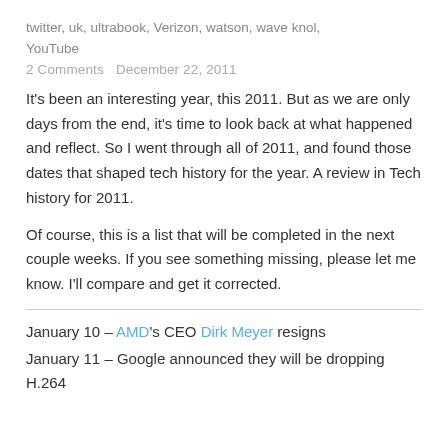twitter, uk, ultrabook, Verizon, watson, wave knol, YouTube
2 Comments    December 22, 2011
It's been an interesting year, this 2011. But as we are only days from the end, it's time to look back at what happened and reflect. So I went through all of 2011, and found those dates that shaped tech history for the year. A review in Tech history for 2011.
Of course, this is a list that will be completed in the next couple weeks. If you see something missing, please let me know. I'll compare and get it corrected.
January 10 – AMD's CEO Dirk Meyer resigns
January 11 – Google announced they will be dropping H.264